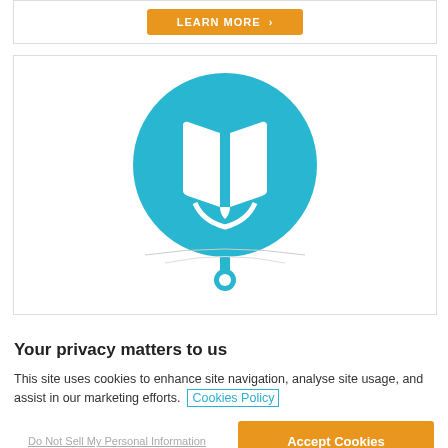[Figure (other): Orange 'LEARN MORE >' button inside a white card with border]
[Figure (logo): Blue circular icon with a white open book and a map-pin pointer shape at the bottom, on a white card background]
Your privacy matters to us
This site uses cookies to enhance site navigation, analyse site usage, and assist in our marketing efforts. Cookies Policy
Do Not Sell My Personal Information
Accept Cookies